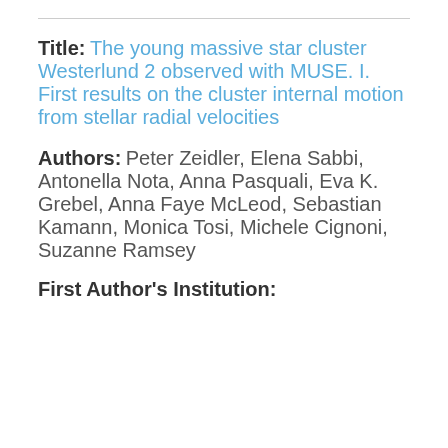Title: The young massive star cluster Westerlund 2 observed with MUSE. I. First results on the cluster internal motion from stellar radial velocities
Authors: Peter Zeidler, Elena Sabbi, Antonella Nota, Anna Pasquali, Eva K. Grebel, Anna Faye McLeod, Sebastian Kamann, Monica Tosi, Michele Cignoni, Suzanne Ramsey
First Author's Institution: